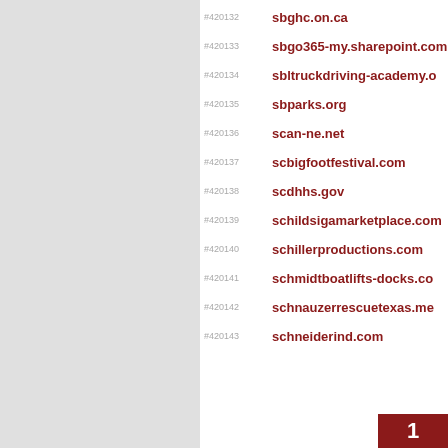#420132  sbghc.on.ca
#420133  sbgo365-my.sharepoint.com
#420134  sbltruckdriving-academy.o
#420135  sbparks.org
#420136  scan-ne.net
#420137  scbigfootfestival.com
#420138  scdhhs.gov
#420139  schildsigamarketplace.com
#420140  schillerproductions.com
#420141  schmidtboatlifts-docks.co
#420142  schnauzerrescuetexas.me
#420143  schneiderind.com
1